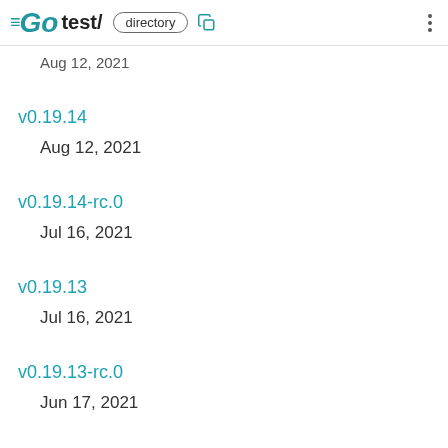GO test/ directory
Aug 12, 2021
v0.19.14
Aug 12, 2021
v0.19.14-rc.0
Jul 16, 2021
v0.19.13
Jul 16, 2021
v0.19.13-rc.0
Jun 17, 2021